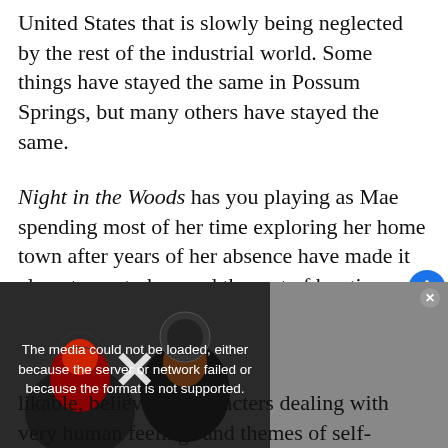United States that is slowly being neglected by the rest of the industrial world. Some things have stayed the same in Possum Springs, but many others have stayed the same.
Night in the Woods has you playing as Mae spending most of her time exploring her home town after years of her absence have made it almost new to her, and the rest of her time trying to reconnect with her old friends from before she left. There's an odd mini-game here and there to break things up, but it's mostly reading and learning more about
[Figure (screenshot): A video player overlay showing an error message 'The media could not be loaded, either because the server or network failed or because the format is not supported.' with a partial Spider-Man image on the left and a title 'Marvel's Spider-Man: Remastered PC Launch Trailer' on the right gray panel. A large X close button is shown in the center.]
likable, believable characters dealing with very human feelings and themes of self-discovery and fear for the future that most of us can relate to. It's narrative doesn't have too